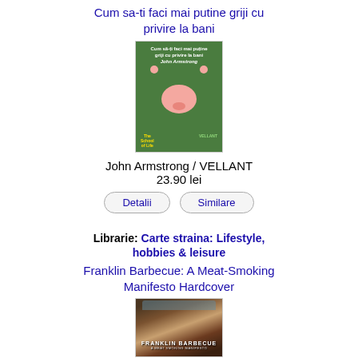Cum sa-ti faci mai putine griji cu privire la bani
[Figure (illustration): Book cover: green background with pink piggy bank illustration, titled 'Cum să-ți faci mai puține griji cu privire la bani' by John Armstrong]
John Armstrong / VELLANT
23.90 lei
Detalii   Similare
Librarie: Carte straina: Lifestyle, hobbies & leisure
Franklin Barbecue: A Meat-Smoking Manifesto Hardcover
[Figure (photo): Book cover of Franklin Barbecue: A Meat-Smoking Manifesto Hardcover showing BBQ brisket on a tray]